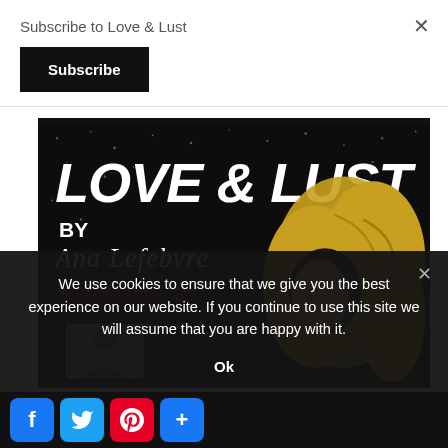Subscribe to Love & Lust
Subscribe
[Figure (illustration): Podcast cover art for 'Love & Lust by Ana Lefebvre Episode 31' — black sparkly background with large bold white text 'LOVE & LUST', subtitle 'BY Ana Lefebvre', red italic text 'EPISODE 31', and a golden illustrated silhouette of a woman with flowing curly hair.]
We use cookies to ensure that we give you the best experience on our website. If you continue to use this site we will assume that you are happy with it.
Ok